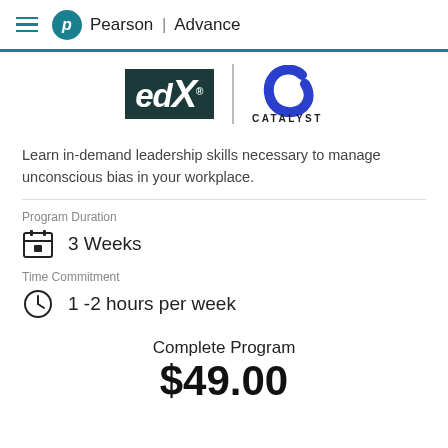Pearson | Advance
[Figure (logo): edX and Catalyst partner logos side by side]
Learn in-demand leadership skills necessary to manage unconscious bias in your workplace.
Program Duration
3 Weeks
Time Commitment
1 -2 hours per week
Complete Program
$49.00